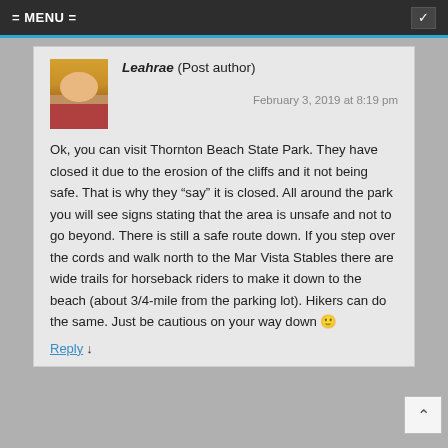= MENU =
Leahrae (Post author)
February 3, 2019 at 8:19 pm
Ok, you can visit Thornton Beach State Park. They have closed it due to the erosion of the cliffs and it not being safe. That is why they “say” it is closed. All around the park you will see signs stating that the area is unsafe and not to go beyond. There is still a safe route down. If you step over the cords and walk north to the Mar Vista Stables there are wide trails for horseback riders to make it down to the beach (about 3/4-mile from the parking lot). Hikers can do the same. Just be cautious on your way down 🙂
Reply ↓